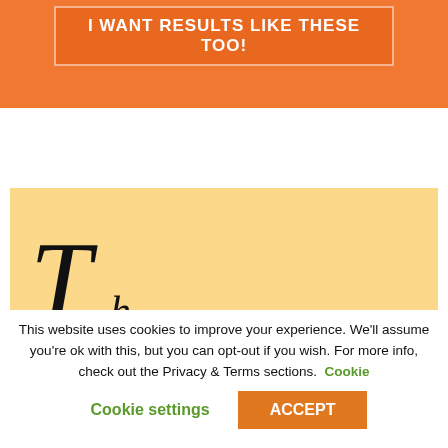I Want Results Like These Too!
[Figure (illustration): Yellow/cream background image partially visible with large italic letter 'T' and partial cursive text suggesting a handwritten testimonial or heading]
This website uses cookies to improve your experience. We'll assume you're ok with this, but you can opt-out if you wish. For more info, check out the Privacy & Terms sections.
Cookie settings
ACCEPT